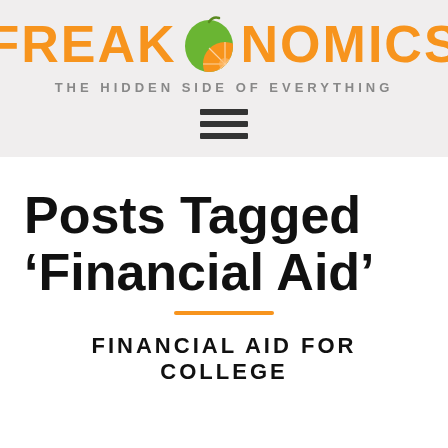FREAKONOMICS — THE HIDDEN SIDE OF EVERYTHING
Posts Tagged ‘Financial Aid’
FINANCIAL AID FOR COLLEGE